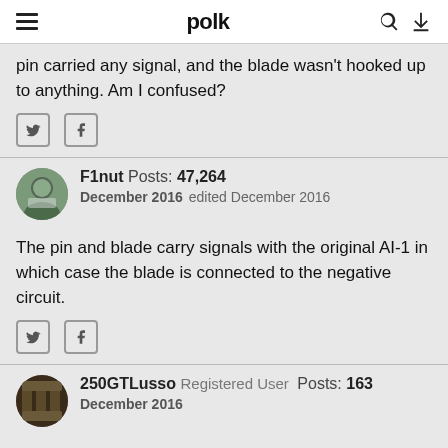polk
pin carried any signal, and the blade wasn't hooked up to anything. Am I confused?
F1nut  Posts: 47,264  December 2016  edited December 2016
The pin and blade carry signals with the original AI-1 in which case the blade is connected to the negative circuit.
250GTLusso  Registered User  Posts: 163  December 2016
Thanks F1nut, I always learn something every day on CP!